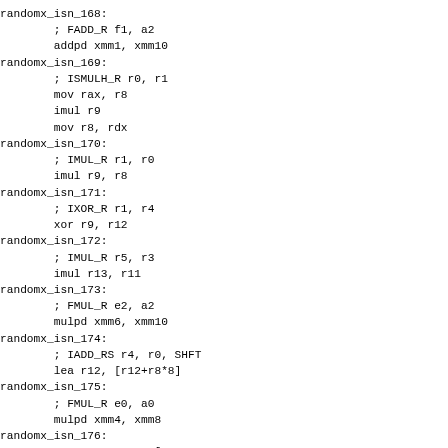randomx_isn_168:
        ; FADD_R f1, a2
        addpd xmm1, xmm10
randomx_isn_169:
        ; ISMULH_R r0, r1
        mov rax, r8
        imul r9
        mov r8, rdx
randomx_isn_170:
        ; IMUL_R r1, r0
        imul r9, r8
randomx_isn_171:
        ; IXOR_R r1, r4
        xor r9, r12
randomx_isn_172:
        ; IMUL_R r5, r3
        imul r13, r11
randomx_isn_173:
        ; FMUL_R e2, a2
        mulpd xmm6, xmm10
randomx_isn_174:
        ; IADD_RS r4, r0, SHFT
        lea r12, [r12+r8*8]
randomx_isn_175:
        ; FMUL_R e0, a0
        mulpd xmm4, xmm8
randomx_isn_176:
        ; ISUB_M r3, L1[r4-1390
        lea eax, [r12d-13905425
        and eax, 16376
        sub r11, qword ptr [rs
randomx_isn_177: